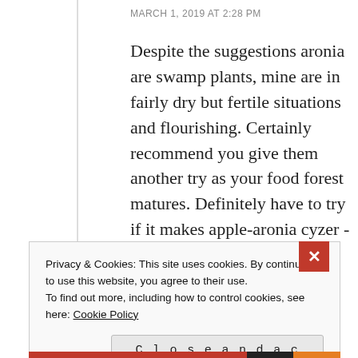MARCH 1, 2019 AT 2:28 PM
Despite the suggestions aronia are swamp plants, mine are in fairly dry but fertile situations and flourishing. Certainly recommend you give them another try as your food forest matures. Definitely have to try if it makes apple-aronia cyzer -whew!
★ Like
Privacy & Cookies: This site uses cookies. By continuing to use this website, you agree to their use.
To find out more, including how to control cookies, see here: Cookie Policy
Close and accept